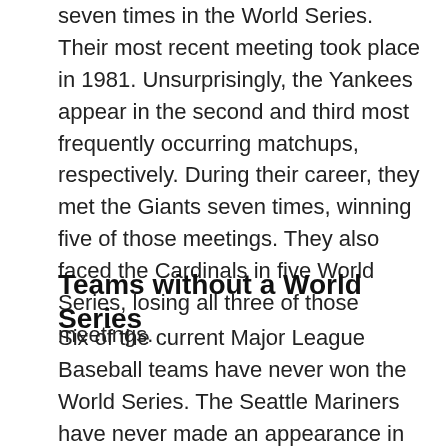seven times in the World Series. Their most recent meeting took place in 1981. Unsurprisingly, the Yankees appear in the second and third most frequently occurring matchups, respectively. During their career, they met the Giants seven times, winning five of those meetings. They also faced the Cardinals in five World Series, losing all three of those meetings.
Teams without a World Series
Six of the current Major League Baseball teams have never won the World Series. The Seattle Mariners have never made an appearance in the Fall Classic in their history. Both the Brewers and the Rockies have appeared in one World Series, and both teams have lost. Three clubs — the San Diego Padres the Texas Rangers and the Tampa